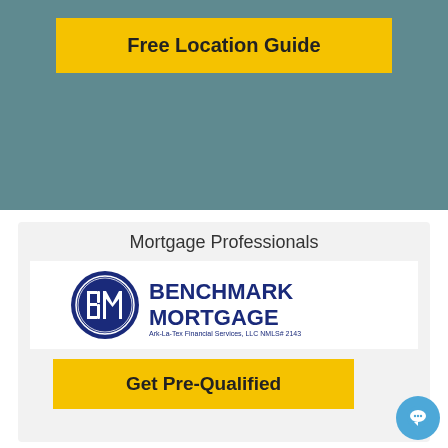[Figure (other): Yellow button with text 'Free Location Guide' on a teal/dark cyan background banner]
Mortgage Professionals
[Figure (logo): Benchmark Mortgage logo — circular blue emblem with BM initials, text 'BENCHMARK MORTGAGE' in bold navy blue, subtitle 'Ark-La-Tex Financial Services, LLC NMLS# 2143']
[Figure (other): Yellow button with text 'Get Pre-Qualified']